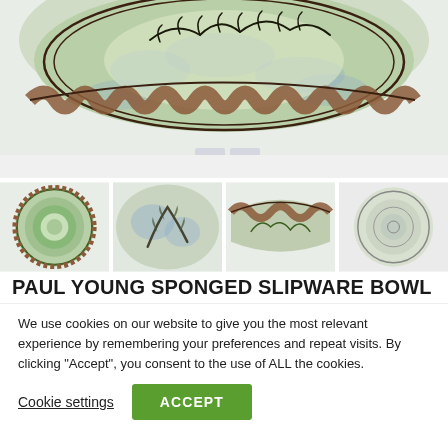[Figure (photo): Close-up of a decorative ceramic bowl with sponged blue-green glaze, dark floral/leaf motifs, and a ruffled brown rim edge. Displayed on a white surface.]
[Figure (photo): Thumbnail: top-down view of the sponged slipware bowl showing concentric rings and green pattern.]
[Figure (photo): Thumbnail: close-up of the bowl interior showing gray-blue sponged glaze and dark leaf motif.]
[Figure (photo): Thumbnail: side view of the bowl showing ruffled/scalloped rim edge.]
[Figure (photo): Thumbnail: top-down view of the bowl base/underside with concentric circles.]
PAUL YOUNG SPONGED SLIPWARE BOWL
We use cookies on our website to give you the most relevant experience by remembering your preferences and repeat visits. By clicking "Accept", you consent to the use of ALL the cookies.
Cookie settings  ACCEPT